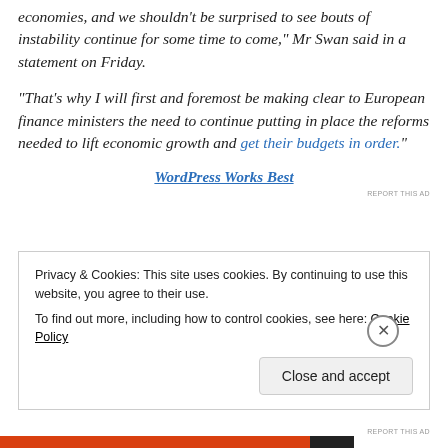economies, and we shouldn't be surprised to see bouts of instability continue for some time to come," Mr Swan said in a statement on Friday.
"That's why I will first and foremost be making clear to European finance ministers the need to continue putting in place the reforms needed to lift economic growth and get their budgets in order."
WordPress Works Best
REPORT THIS AD
Privacy & Cookies: This site uses cookies. By continuing to use this website, you agree to their use.
To find out more, including how to control cookies, see here: Cookie Policy
Close and accept
REPORT THIS AD